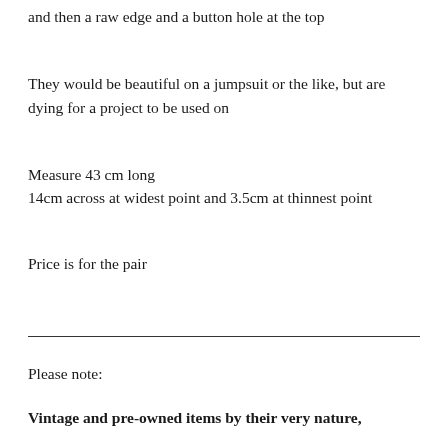and then a raw edge and a button hole at the top
They would be beautiful on a jumpsuit or the like, but are dying for a project to be used on
Measure 43 cm long
14cm across at widest point and 3.5cm at thinnest point
Price is for the pair
Please note:
Vintage and pre-owned items by their very nature,